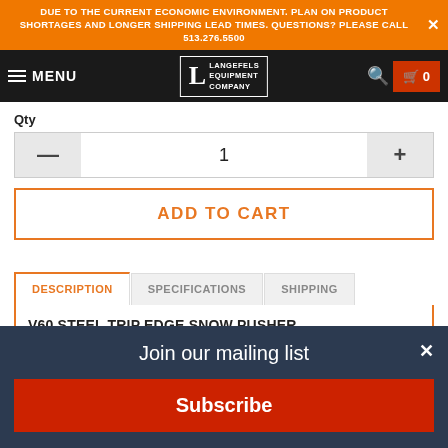DUE TO THE CURRENT ECONOMIC ENVIRONMENT. PLAN ON PRODUCT SHORTAGES AND LONGER SHIPPING LEAD TIMES. QUESTIONS? PLEASE CALL 513.276.5500
MENU — Langefels Equipment Company — Search — Cart 0
Qty
1
ADD TO CART
DESCRIPTION | SPECIFICATIONS | SHIPPING
V60 STEEL TRIP EDGE SNOW PUSHER
Join our mailing list
Subscribe